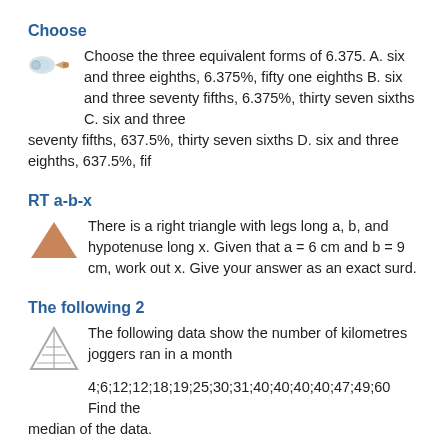Choose
Choose the three equivalent forms of 6.375. A. six and three eighths, 6.375%, fifty one eighths B. six and three seventy fifths, 6.375%, thirty seven sixths C. six and three seventy fifths, 637.5%, thirty seven sixths D. six and three eighths, 637.5%, fif
RT a-b-x
There is a right triangle with legs long a, b, and hypotenuse long x. Given that a = 6 cm and b = 9 cm, work out x. Give your answer as an exact surd.
The following 2
The following data show the number of kilometres joggers ran in a month
4;6;12;12;18;19;25;30;31;40;40;40;40;47;49;60 Find the median of the data.